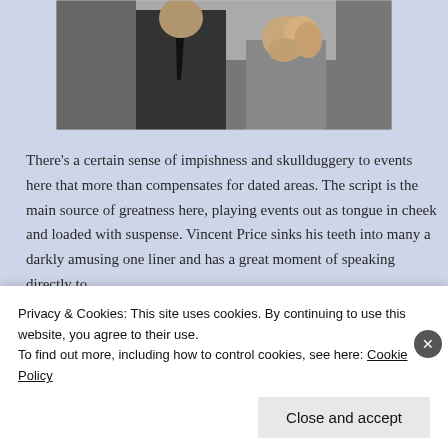[Figure (photo): Black and white photo showing a man in a dark suit and tie with a woman with blonde hair looking up at him]
There's a certain sense of impishness and skullduggery to events here that more than compensates for dated areas. The script is the main source of greatness here, playing events out as tongue in cheek and loaded with suspense. Vincent Price sinks his teeth into many a darkly amusing one liner and has a great moment of speaking directly to
Privacy & Cookies: This site uses cookies. By continuing to use this website, you agree to their use.
To find out more, including how to control cookies, see here: Cookie Policy
Close and accept